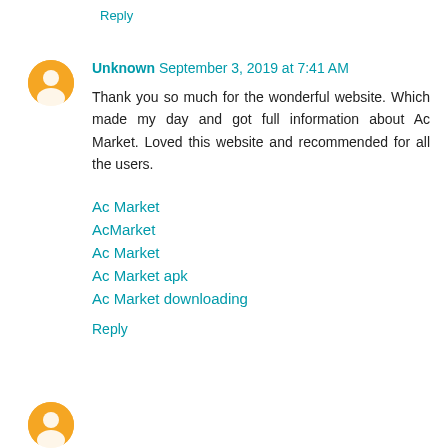Reply
Unknown September 3, 2019 at 7:41 AM
Thank you so much for the wonderful website. Which made my day and got full information about Ac Market. Loved this website and recommended for all the users.
Ac Market
AcMarket
Ac Market
Ac Market apk
Ac Market downloading
Reply